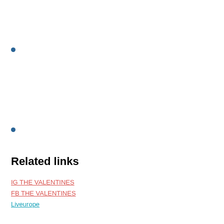•
•
Related links
IG THE VALENTINES
FB THE VALENTINES
Liveurope